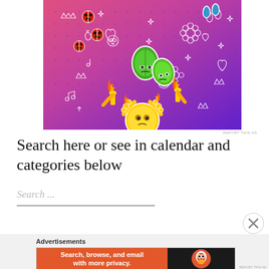[Figure (illustration): Colorful cartoon illustration with purple-to-pink gradient background covered in white doodles (crowns, hearts, music notes, skulls, flowers, leaves, arrows). Features cartoon stickers: two green sad leaf characters, two flame-torch characters, and a round yellow sun-like character raising its arms with fire in its hands in the center-bottom.]
REPORT THIS AD
Search here or see in calendar and categories below
Search ...
Advertisements
[Figure (screenshot): DuckDuckGo advertisement banner. Left orange section reads 'Search, browse, and email with more privacy. All in One Free App'. Right black section shows DuckDuckGo logo and name.]
REPORT THIS AD